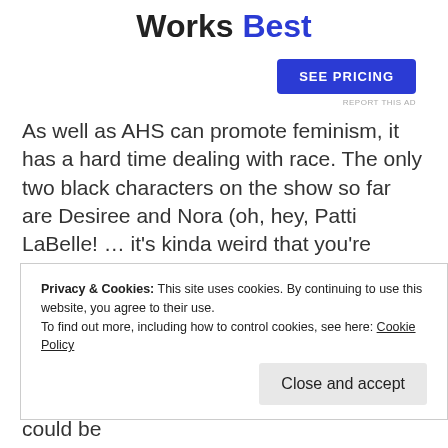Works Best
[Figure (other): SEE PRICING button advertisement]
REPORT THIS AD
As well as AHS can promote feminism, it has a hard time dealing with race. The only two black characters on the show so far are Desiree and Nora (oh, hey, Patti LaBelle! … it's kinda weird that you're here… right?). The one is married to a white man, which in some states is probably still illegal, and the other is playing a house maid
Privacy & Cookies: This site uses cookies. By continuing to use this website, you agree to their use.
To find out more, including how to control cookies, see here: Cookie Policy
resembling subtlety (maybe even tact?) could be